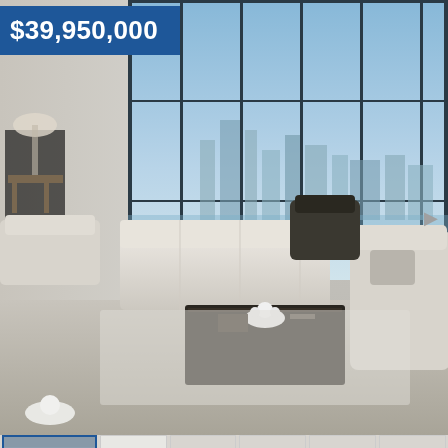[Figure (photo): Main large photo of luxury penthouse living room with floor-to-ceiling windows showing city skyline view. White and cream furniture, dark coffee table with flowers, grey rug.]
$39,950,000
[Figure (photo): Thumbnail row: 1) living room interior (selected/highlighted), 2) floor plan blueprint, 3) another living room angle, 4) corner window view, 5) living room with skyline, 6) another living room angle]
[Figure (infographic): Blue square button with white heart/favorite icon]
Penthouse @ 50 United Nations Plaza
Welcome to Penthouse 42, the crown jewel of 50 United Nations Plaza. This nearly 10,000 SF